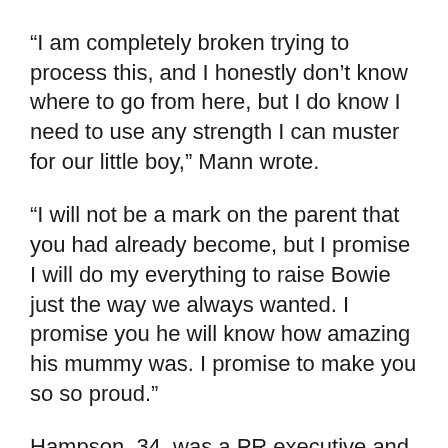“I am completely broken trying to process this, and I honestly don’t know where to go from here, but I do know I need to use any strength I can muster for our little boy,” Mann wrote.
“I will not be a mark on the parent that you had already become, but I promise I will do my everything to raise Bowie just the way we always wanted. I promise you he will know how amazing his mummy was. I promise to make you so so proud.”
Hampson, 34, was a PR executive and dancer for groups like Little Mix and Take That, reported the BBC.